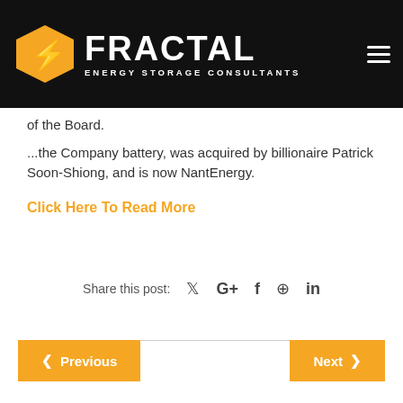[Figure (logo): Fractal Energy Storage Consultants logo with orange hexagon and white text on black navbar]
of the Board.
...the Company battery, was acquired by billionaire Patrick Soon-Shiong, and is now NantEnergy.
Click Here To Read More
Share this post:
< Previous
Next >